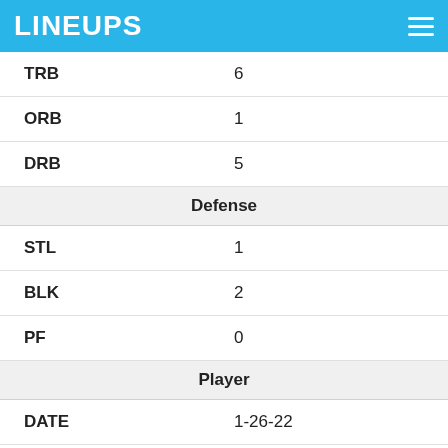LINEUPS
| Stat | Value |
| --- | --- |
| TRB | 6 |
| ORB | 1 |
| DRB | 5 |
| Defense |  |
| STL | 1 |
| BLK | 2 |
| PF | 0 |
| Player |  |
| DATE | 1-26-22 |
| OPP | at POR |
| SCORE | W 132-112 |
| MINS | 37 |